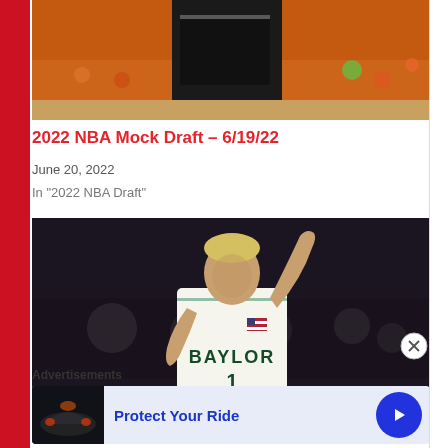[Figure (photo): Basketball player in black Nike uniform standing on court with orange-clad crowd in background]
2022 NBA Mock Draft – 6/19/22
June 20, 2022
In "2022 NBA Draft"
[Figure (photo): Baylor basketball player #1 in white uniform raising arm, with arena crowd in background]
Advertisements
[Figure (photo): Advertisement banner: Protect Your Ride, with dark vehicle image and blue arrow button]